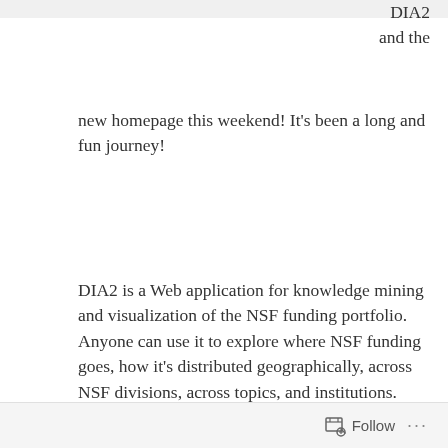DIA2 and the new homepage this weekend! It's been a long and fun journey!
DIA2 is a Web application for knowledge mining and visualization of the NSF funding portfolio. Anyone can use it to explore where NSF funding goes, how it's distributed geographically, across NSF divisions, across topics, and institutions. You can explore collaboration networks of researchers who worked together on proposals, identify who's well connected in a field, and figure out what NSF programs and program managers have funded research similar to yours.
I'm happy to have been involved with DIA2 since the
Follow ···